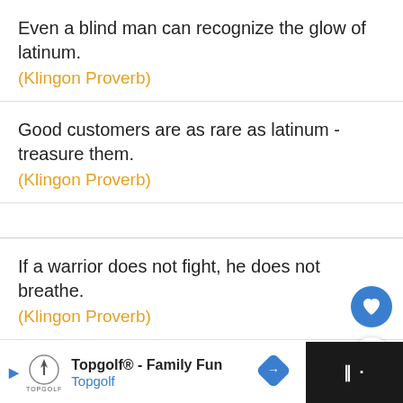Even a blind man can recognize the glow of latinum.
(Klingon Proverb)
Good customers are as rare as latinum - treasure them.
(Klingon Proverb)
If a warrior does not fight, he does not breathe.
(Klingon Proverb)
It is a good day to die.
(Klingon Proverb)
[Figure (other): Advertisement bar for Topgolf - Family Fun with logo, play button, navigation icon, and dark panel with music icon on black background]